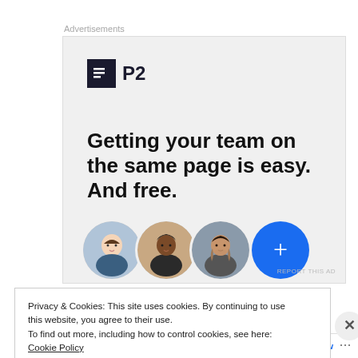Advertisements
[Figure (infographic): P2 advertisement. Shows the P2 logo (dark square icon with lines and 'P2' text). Bold tagline reads: 'Getting your team on the same page is easy. And free.' Below are three circular avatar photos of people and a blue circle with a plus sign.]
REPORT THIS AD
Privacy & Cookies: This site uses cookies. By continuing to use this website, you agree to their use.
To find out more, including how to control cookies, see here: Cookie Policy
Close and accept
Follow